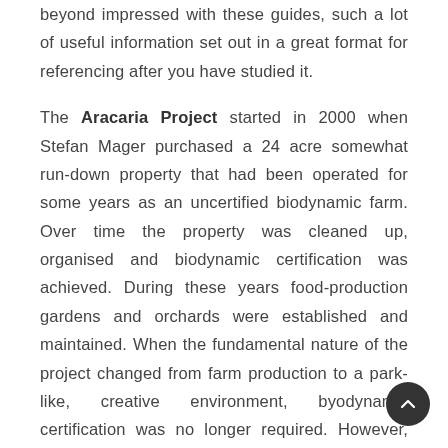beyond impressed with these guides, such a lot of useful information set out in a great format for referencing after you have studied it.
The Aracaria Project started in 2000 when Stefan Mager purchased a 24 acre somewhat run-down property that had been operated for some years as an uncertified biodynamic farm. Over time the property was cleaned up, organised and biodynamic certification was achieved. During these years food-production gardens and orchards were established and maintained. When the fundamental nature of the project changed from farm production to a park-like, creative environment, byodynamic certification was no longer required. However, the organic, holistic approach to the land continues. Today (2021) Aracaria features many spectacular gardens and an environment which includes a vast array of plants, trees, native animals, dams and waterfeatures. A number of